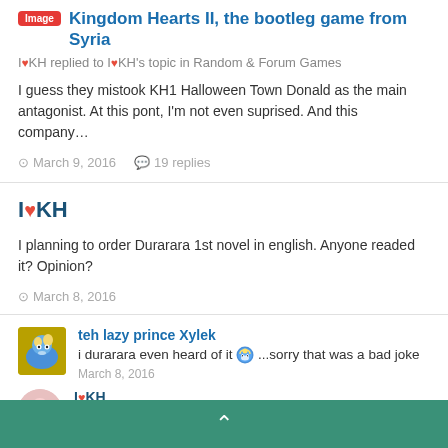Kingdom Hearts II, the bootleg game from Syria
I♥KH replied to I♥KH's topic in Random & Forum Games
I guess they mistook KH1 Halloween Town Donald as the main antagonist. At this pont, I'm not even suprised. And this company…
March 9, 2016   19 replies
I♥KH
I planning to order Durarara 1st novel in english. Anyone readed it? Opinion?
March 8, 2016
teh lazy prince Xylek
i durarara even heard of it 😀...sorry that was a bad joke
March 8, 2016
I♥KH